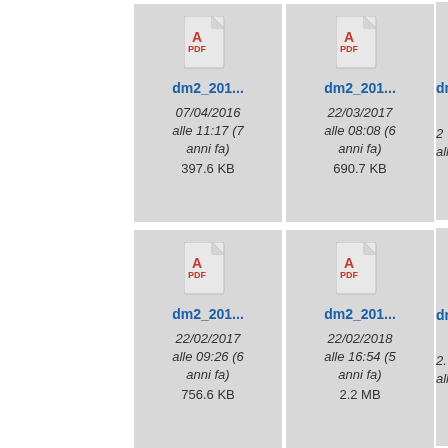[Figure (screenshot): File browser grid view showing PDF file thumbnails. Row 1: card 1 - dm2_201... dated 07/04/2016 alle 11:17 (7 anni fa) 397.6 KB; card 2 - dm2_201... dated 22/03/2017 alle 08:08 (6 anni fa) 690.7 KB; card 3 partial - dm... Row 2: card 1 - dm2_201... dated 22/02/2017 alle 09:26 (6 anni fa) 756.6 KB; card 2 - dm2_201... dated 22/02/2018 alle 16:54 (5 anni fa) 2.2 MB; card 3 partial - dm...]